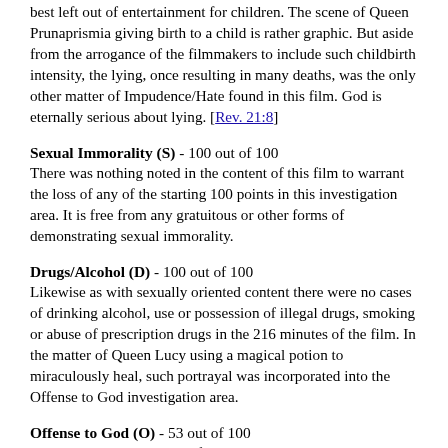best left out of entertainment for children. The scene of Queen Prunaprismia giving birth to a child is rather graphic. But aside from the arrogance of the filmmakers to include such childbirth intensity, the lying, once resulting in many deaths, was the only other matter of Impudence/Hate found in this film. God is eternally serious about lying. [Rev. 21:8]
Sexual Immorality (S) - 100 out of 100
There was nothing noted in the content of this film to warrant the loss of any of the starting 100 points in this investigation area. It is free from any gratuitous or other forms of demonstrating sexual immorality.
Drugs/Alcohol (D) - 100 out of 100
Likewise as with sexually oriented content there were no cases of drinking alcohol, use or possession of illegal drugs, smoking or abuse of prescription drugs in the 216 minutes of the film. In the matter of Queen Lucy using a magical potion to miraculously heal, such portrayal was incorporated into the Offense to God investigation area.
Offense to God (O) - 53 out of 100
Mythical beasts used as performing characters were noted throughout the film. Further, a number of instances of unholy transporting to another time and place, a number of unholy